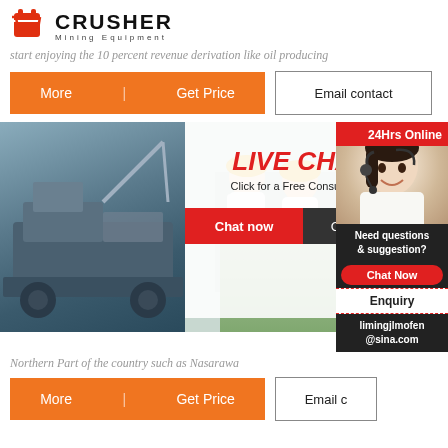[Figure (logo): Crusher Mining Equipment logo with red shopping bag icon and bold CRUSHER text]
start enjoying the 10 percent revenue derivation like oil producing
[Figure (other): Orange More / Get Price button and Email contact button]
[Figure (other): Live Chat popup overlay with workers photo, Chat now and Chat later buttons, and 24Hrs Online right sidebar with agent photo, Need questions & suggestion, Chat Now pill, Enquiry, and limingjlmofen@sina.com]
Northern Part of the country such as Nasarawa
[Figure (other): Orange More / Get Price button and Email c button row at bottom]